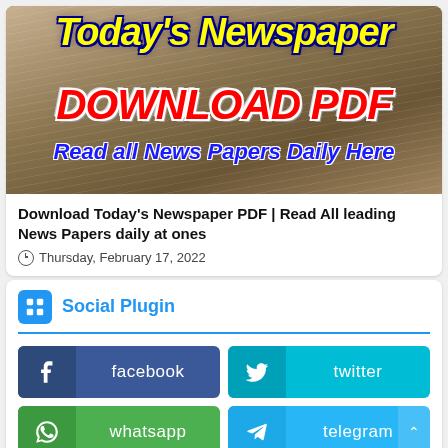[Figure (illustration): Newspaper download banner with yellow italic bold 'Today's Newspaper' text, red bold 'DOWNLOAD PDF' text, and blue italic 'Read all News Papers Daily Here' text over a background of newspaper pile images.]
Download Today's Newspaper PDF | Read All leading News Papers daily at ones
Thursday, February 17, 2022
Social Plugin
facebook
twitter
whatsapp
telegram